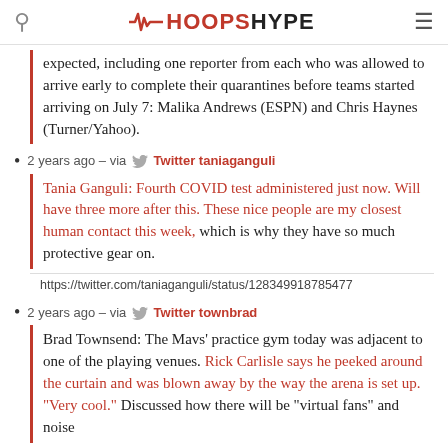HOOPSHYPE
expected, including one reporter from each who was allowed to arrive early to complete their quarantines before teams started arriving on July 7: Malika Andrews (ESPN) and Chris Haynes (Turner/Yahoo).
2 years ago – via Twitter taniaganguli
Tania Ganguli: Fourth COVID test administered just now. Will have three more after this. These nice people are my closest human contact this week, which is why they have so much protective gear on.
https://twitter.com/taniaganguli/status/128349918785477
2 years ago – via Twitter townbrad
Brad Townsend: The Mavs' practice gym today was adjacent to one of the playing venues. Rick Carlisle says he peeked around the curtain and was blown away by the way the arena is set up. "Very cool." Discussed how there will be "virtual fans" and noise